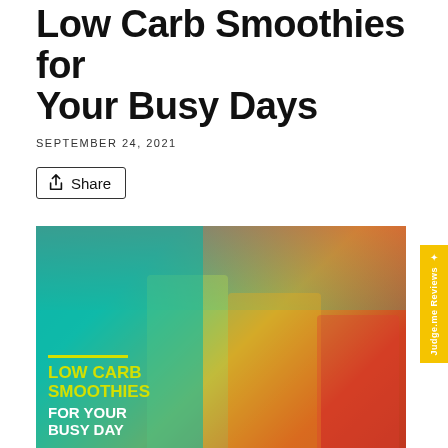Low Carb Smoothies for Your Busy Days
SEPTEMBER 24, 2021
Share
[Figure (photo): Photo of colorful smoothies in mason jars with striped paper straws (green, red, brown/white), with watermelon slices in the background. Overlaid text reads: LOW CARB SMOOTHIES FOR YOUR BUSY DAY in yellow and white on a teal background. A yellow line accent appears above the text.]
Judge.me Reviews